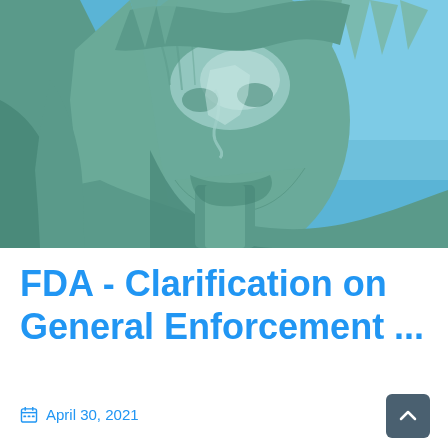[Figure (photo): Close-up photograph of the face of the Statue of Liberty against a blue sky, showing the green oxidized copper surface and crown spikes]
FDA - Clarification on General Enforcement ...
April 30, 2021